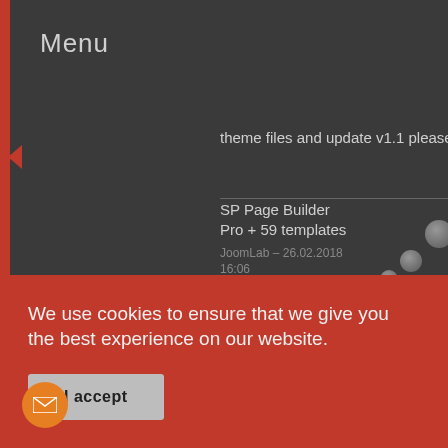Menu
theme files and update v1.1 please
SP Page Builder Pro + 59 templates
JoomLab - 26.02.2018 16:06
updated to version 3.1.1
SP Page Builder Pro + 59 templates
UzMaN - 25.02.2018 06:38
We use cookies to ensure that we give you the best experience on our website.
I accept